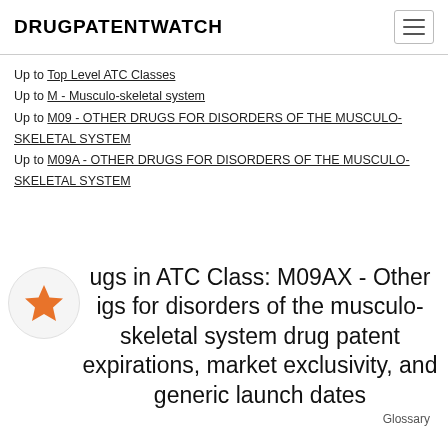DRUGPATENTWATCH
Up to Top Level ATC Classes
Up to M - Musculo-skeletal system
Up to M09 - OTHER DRUGS FOR DISORDERS OF THE MUSCULO-SKELETAL SYSTEM
Up to M09A - OTHER DRUGS FOR DISORDERS OF THE MUSCULO-SKELETAL SYSTEM
Drugs in ATC Class: M09AX - Other drugs for disorders of the musculo-skeletal system drug patent expirations, market exclusivity, and generic launch dates
Glossary